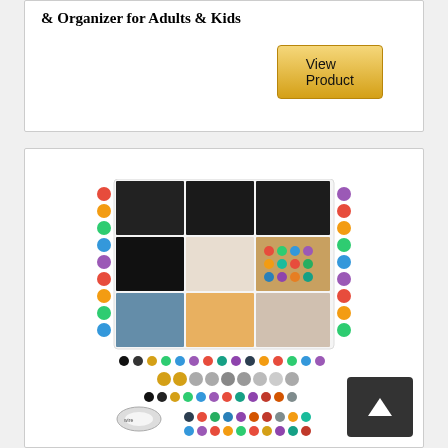& Organizer for Adults & Kids
View Product
[Figure (photo): Product image showing a bead kit organizer with multiple compartments containing various colored beads, charms, and jewelry-making supplies arranged in a grid tray, along with loose beads and tools below.]